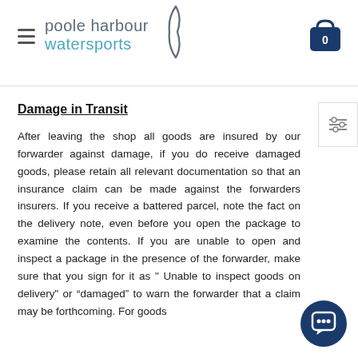poole harbour watersports
Damage in Transit
After leaving the shop all goods are insured by our forwarder against damage, if you do receive damaged goods, please retain all relevant documentation so that an insurance claim can be made against the forwarders insurers. If you receive a battered parcel, note the fact on the delivery note, even before you open the package to examine the contents. If you are unable to open and inspect a package in the presence of the forwarder, make sure that you sign for it as " Unable to inspect goods on delivery" or “damaged” to warn the forwarder that a claim may be forthcoming. For goods